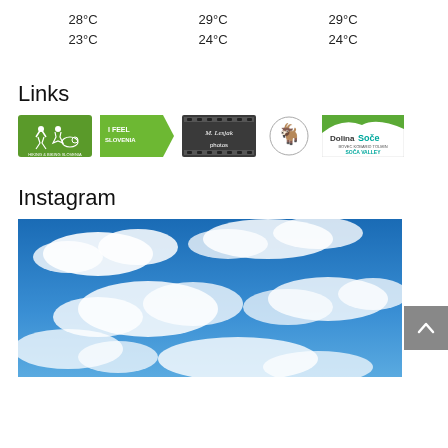28°C
23°C
29°C
24°C
29°C
24°C
Links
[Figure (logo): Five partner logos: Hiking & Biking Slovenia, I Feel Slovenia, M. Lesjak photos, animal logo, Dolina Soče / Soča Valley]
Instagram
[Figure (photo): Blue sky with white clouds]